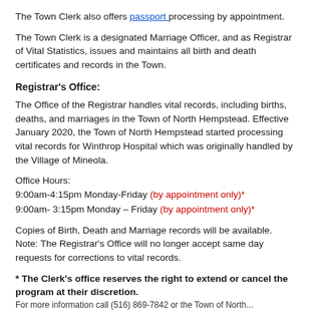The Town Clerk also offers passport processing by appointment.
The Town Clerk is a designated Marriage Officer, and as Registrar of Vital Statistics, issues and maintains all birth and death certificates and records in the Town.
Registrar's Office:
The Office of the Registrar handles vital records, including births, deaths, and marriages in the Town of North Hempstead. Effective January 2020, the Town of North Hempstead started processing vital records for Winthrop Hospital which was originally handled by the Village of Mineola.
Office Hours:
9:00am-4:15pm Monday-Friday (by appointment only)*
9:00am- 3:15pm Monday – Friday (by appointment only)*
Copies of Birth, Death and Marriage records will be available. Note: The Registrar's Office will no longer accept same day requests for corrections to vital records.
* The Clerk's office reserves the right to extend or cancel the program at their discretion.
For more information call (516) 869-7842 or the Town of North...